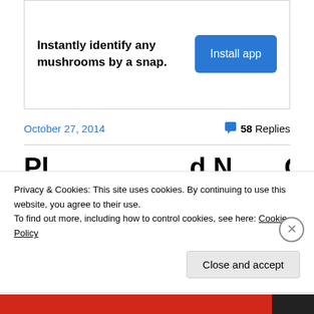[Figure (infographic): Advertisement box: 'Instantly identify any mushrooms by a snap.' with an 'Install app' blue button]
October 27, 2014     58 Replies
Pl... (partial section heading, cut off)
Privacy & Cookies: This site uses cookies. By continuing to use this website, you agree to their use.
To find out more, including how to control cookies, see here: Cookie Policy
Close and accept